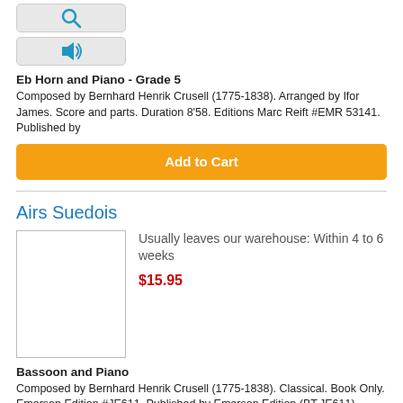[Figure (screenshot): Search icon button (magnifying glass, blue)]
[Figure (screenshot): Audio/speaker icon button (blue speaker with sound waves)]
Eb Horn and Piano - Grade 5
Composed by Bernhard Henrik Crusell (1775-1838). Arranged by Ifor James. Score and parts. Duration 8'58. Editions Marc Reift #EMR 53141. Published by
Add to Cart
Airs Suedois
[Figure (photo): Book cover image placeholder (white box with border)]
Usually leaves our warehouse: Within 4 to 6 weeks
$15.95
Bassoon and Piano
Composed by Bernhard Henrik Crusell (1775-1838). Classical. Book Only. Emerson Edition #JE611. Published by Emerson Edition (BT.JE611).
Add to Cart